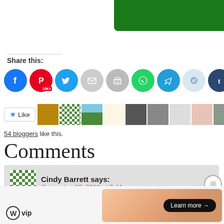[Figure (other): Green header bar in top right corner]
Share this:
[Figure (other): Social share icons: Facebook, Pinterest (10K+), Twitter, Email, Print, WhatsApp, Telegram, Reddit, Tumblr]
[Figure (other): Like button with star icon, followed by blogger avatars including profile photos]
54 bloggers like this.
Comments
Cindy Barrett says: September 25, 2013 at 7:44 pm
Beautiful! And I love your directions! Very well written and re... you!
Advertisements
[Figure (other): WordPress VIP logo and Learn more advertisement banner]